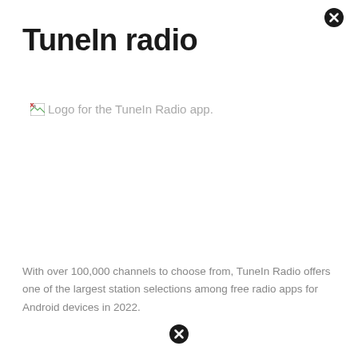TuneIn radio
[Figure (illustration): Broken image placeholder with alt text: Logo for the TuneIn Radio app.]
With over 100,000 channels to choose from, TuneIn Radio offers one of the largest station selections among free radio apps for Android devices in 2022.